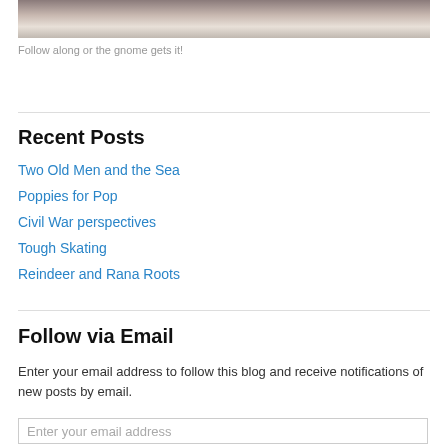[Figure (photo): Close-up photo of a small speckled stone or egg held in a person's hand]
Follow along or the gnome gets it!
Recent Posts
Two Old Men and the Sea
Poppies for Pop
Civil War perspectives
Tough Skating
Reindeer and Rana Roots
Follow via Email
Enter your email address to follow this blog and receive notifications of new posts by email.
Enter your email address